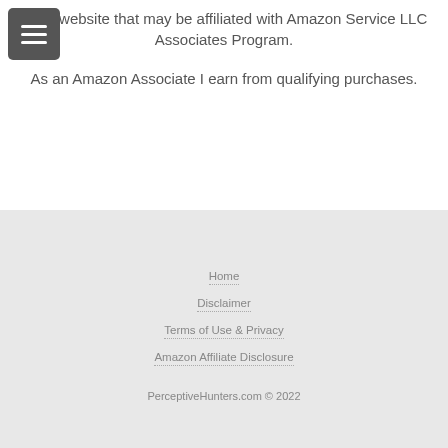other website that may be affiliated with Amazon Service LLC Associates Program.
As an Amazon Associate I earn from qualifying purchases.
Home
Disclaimer
Terms of Use & Privacy
Amazon Affiliate Disclosure
PerceptiveHunters.com © 2022